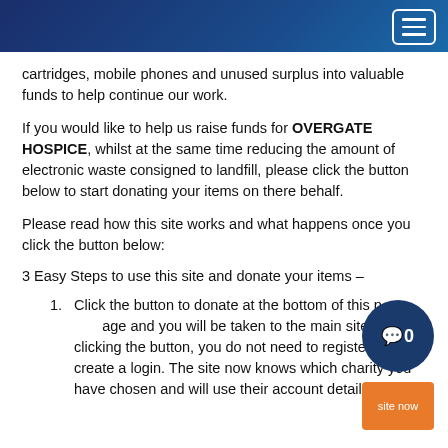cartridges, mobile phones and unused surplus into valuable funds to help continue our work.
If you would like to help us raise funds for OVERGATE HOSPICE, whilst at the same time reducing the amount of electronic waste consigned to landfill, please click the button below to start donating your items on there behalf.
Please read how this site works and what happens once you click the button below:
3 Easy Steps to use this site and donate your items –
Click the button to donate at the bottom of this page and you will be taken to the main site. By clicking the button, you do not need to register or create a login. The site now knows which charity you have chosen and will use their account details.